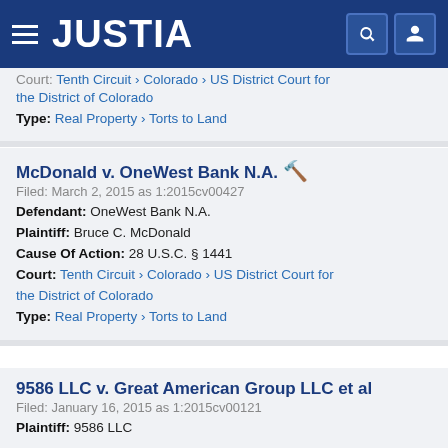JUSTIA
Court: Tenth Circuit › Colorado › US District Court for the District of Colorado
Type: Real Property › Torts to Land
McDonald v. OneWest Bank N.A.
Filed: March 2, 2015 as 1:2015cv00427
Defendant: OneWest Bank N.A.
Plaintiff: Bruce C. McDonald
Cause Of Action: 28 U.S.C. § 1441
Court: Tenth Circuit › Colorado › US District Court for the District of Colorado
Type: Real Property › Torts to Land
9586 LLC v. Great American Group LLC et al
Filed: January 16, 2015 as 1:2015cv00121
Plaintiff: 9586 LLC